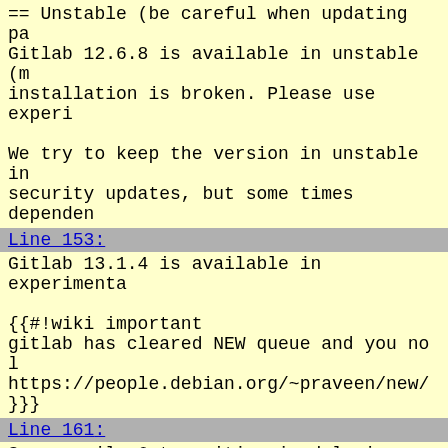== Unstable (be careful when updating pa
Gitlab 12.6.8 is available in unstable (m
installation is broken. Please use experi
We try to keep the version in unstable in
security updates, but some times dependen
Line 153:
Gitlab 13.1.4 is available in experimenta
{{#!wiki important
gitlab has cleared NEW queue and you no l
https://people.debian.org/~praveen/new/
}}}
Line 161:
Some  rails 6 transition is delaying uplo
Install some dependencies from experiment
{{{